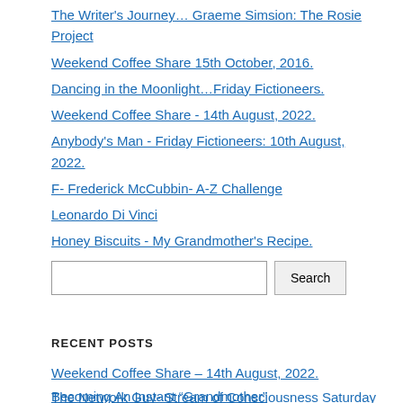The Writer's Journey… Graeme Simsion: The Rosie Project
Weekend Coffee Share 15th October, 2016.
Dancing in the Moonlight…Friday Fictioneers.
Weekend Coffee Share - 14th August, 2022.
Anybody's Man - Friday Fictioneers: 10th August, 2022.
F- Frederick McCubbin- A-Z Challenge
Leonardo Di Vinci
Honey Biscuits - My Grandmother's Recipe.
An Empty Harbour - Sydney.
[Figure (other): Search input box with Search button]
RECENT POSTS
Weekend Coffee Share – 14th August, 2022.
The Network Guy- Stream of Consciousness Saturday
Becoming An Instant "Grandmother"